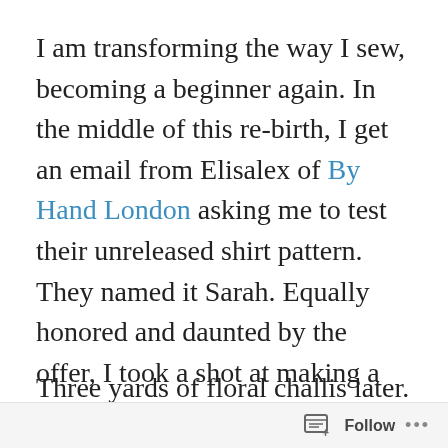I am transforming the way I sew, becoming a beginner again. In the middle of this re-birth, I get an email from Elisalex of By Hand London asking me to test their unreleased shirt pattern. They named it Sarah. Equally honored and daunted by the offer, I took a shot at making a shirt on a two-week deadline using a pattern I had never seen before.
Three yards of floral challis later. Sarah and I
Follow ···